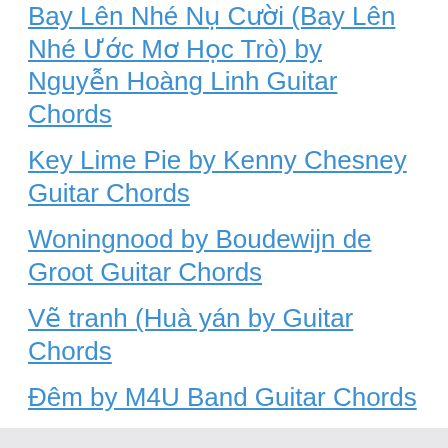Bay Lên Nhé Nụ Cười (Bay Lên Nhé Ước Mơ Học Trò) by Nguyễn Hoàng Linh Guitar Chords
Key Lime Pie by Kenny Chesney Guitar Chords
Woningnood by Boudewijn de Groot Guitar Chords
Vẽ tranh (Huà yán by Guitar Chords
Đêm by M4U Band Guitar Chords
Recent Comments
No comments to show.